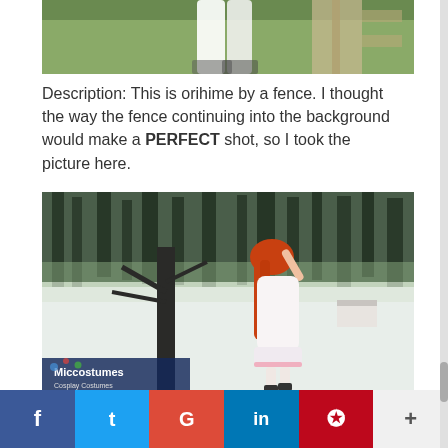[Figure (photo): Bottom portion of a cosplay photo showing white knee socks and legs near a wooden fence, with green grass in background]
Description: This is orihime by a fence. I thought the way the fence continuing into the background would make a PERFECT shot, so I took the picture here.
[Figure (photo): Cosplay photo of a person with long red hair wearing a white dress, standing in a snowy field with bare trees in the background. A Miccostumes sponsor contest logo is visible in the lower left corner.]